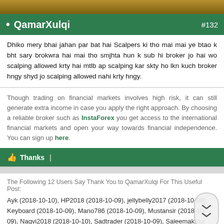QamarXulqi #132
Dhiko mery bhai jahan par bat hai Scalpers ki tho mai mai ye btao k bht sary brokwra hai mai tho smjhta hun k sub hi broker jo hai wo scalping allowed krty hai mtlb ap scalping kar skty ho lkn kuch broker hngy shyd jo scalping allowed nahi krty hngy.
Though trading on financial markets involves high risk, it can still generate extra income in case you apply the right approach. By choosing a reliable broker such as InstaForex you get access to the international financial markets and open your way towards financial independence. You can sign up here.
Thanks |
The Following 12 Users Say Thank You to QamarXulqi For This Useful Post:
Ayk (2018-10-10), HP2018 (2018-10-09), jellybelly2017 (2018-10-09), Keyboard (2018-10-09), Mano786 (2018-10-09), Mustansir (2018-10-09), Naqvi2018 (2018-10-10), Sadtrader (2018-10-09), Saleemakhtar (2018-10-09), sufiyan22 (2018-10-10), zahid2016 (2018-10-09), Zulqarnain (2018-10-09)